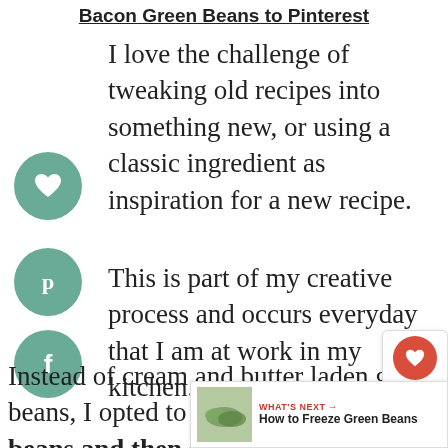Bacon Green Beans to Pinterest
I love the challenge of tweaking old recipes into something new, or using a classic ingredient as inspiration for a new recipe.
This is part of my creative process and occurs everyday that I am at work in my kitchen.
Instead of cream and butter laden green beans, I opted to blanch my green beans and then saute them in just